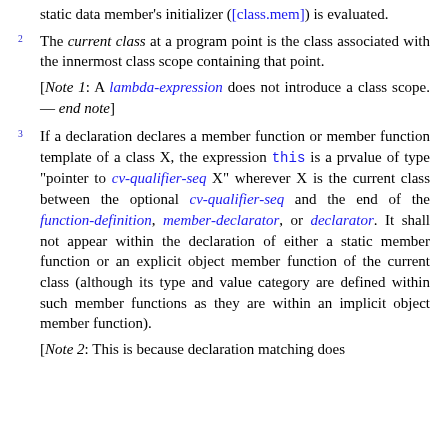static data member's initializer ([class.mem]) is evaluated.
2 The current class at a program point is the class associated with the innermost class scope containing that point.
[Note 1: A lambda-expression does not introduce a class scope. — end note]
3 If a declaration declares a member function or member function template of a class X, the expression this is a prvalue of type "pointer to cv-qualifier-seq X" wherever X is the current class between the optional cv-qualifier-seq and the end of the function-definition, member-declarator, or declarator. It shall not appear within the declaration of either a static member function or an explicit object member function of the current class (although its type and value category are defined within such member functions as they are within an implicit object member function).
[Note 2: This is because declaration matching does